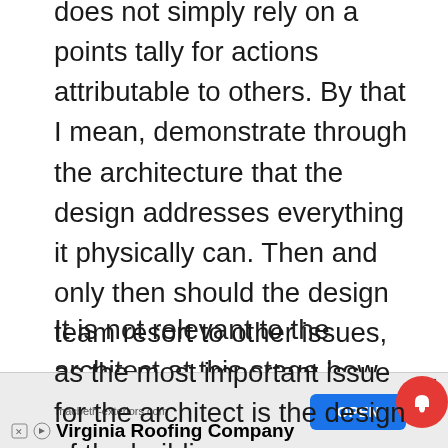does not simply rely on a points tally for actions attributable to others. By that I mean, demonstrate through the architecture that the design addresses everything it physically can. Then and only then should the design team resort to other issues, as the most important issue for the architect is the design of the building.
It is not relevant to the architect at this stage how the building is to be managed or whether the builder will use recycled materials for instance. All these issues will have their own relevance in time, but only after the design is addressed – not as the primary means of achieving a sustainable
[Figure (other): Advertisement banner: macbeth-exteriors.com Virginia Roofing Company with blue OPEN button, close X button, and red notification bell icon overlay]